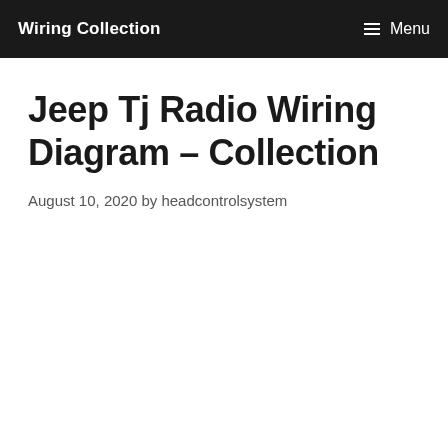Wiring Collection | Menu
Jeep Tj Radio Wiring Diagram – Collection
August 10, 2020 by headcontrolsystem